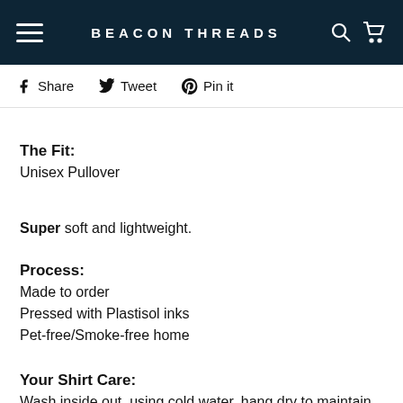BEACON THREADS
f Share   Tweet   Pin it
The Fit:
Unisex Pullover
Super soft and lightweight.
Process:
Made to order
Pressed with Plastisol inks
Pet-free/Smoke-free home
Your Shirt Care:
Wash inside out, using cold water, hang dry to maintain the quality of the print